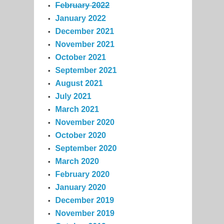February 2022
January 2022
December 2021
November 2021
October 2021
September 2021
August 2021
July 2021
March 2021
November 2020
October 2020
September 2020
March 2020
February 2020
January 2020
December 2019
November 2019
October 2019
September 2019
August 2019
July 2019
June 2019